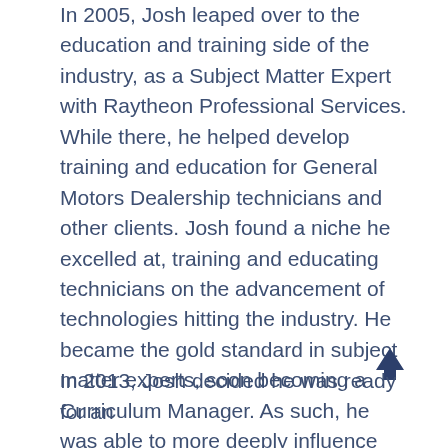In 2005, Josh leaped over to the education and training side of the industry, as a Subject Matter Expert with Raytheon Professional Services. While there, he helped develop training and education for General Motors Dealership technicians and other clients. Josh found a niche he excelled at, training and educating technicians on the advancement of technologies hitting the industry. He became the gold standard in subject matter experts, soon becoming a Curriculum Manager. As such, he was able to more deeply influence the direction and specifications of the training programs Raytheon was offering.
In 2013, Josh decided he was ready for an